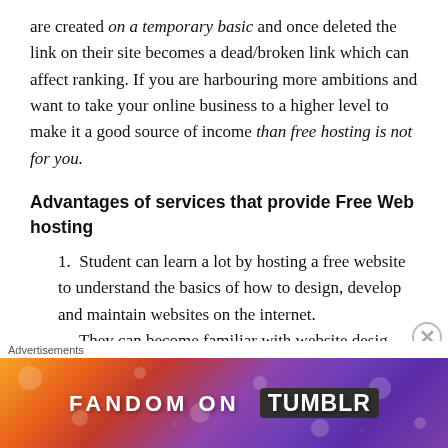are created on a temporary basic and once deleted the link on their site becomes a dead/broken link which can affect ranking. If you are harbouring more ambitions and want to take your online business to a higher level to make it a good source of income than free hosting is not for you.
Advantages of services that provide Free Web hosting
Student can learn a lot by hosting a free website to understand the basics of how to design, develop and maintain websites on the internet. They can become familiar with website design
[Figure (other): Advertisement banner: 'FANDOM ON tumblr' with colorful gradient background (orange, red, purple)]